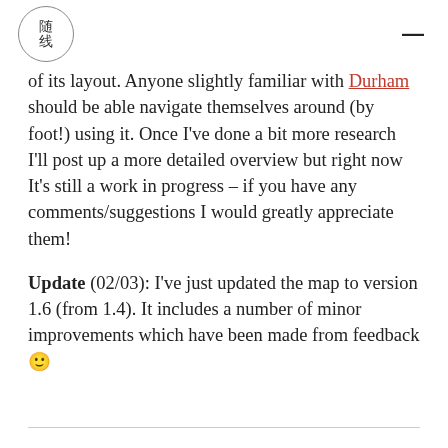随线 [logo] ☰
of its layout. Anyone slightly familiar with Durham should be able navigate themselves around (by foot!) using it. Once I've done a bit more research I'll post up a more detailed overview but right now It's still a work in progress – if you have any comments/suggestions I would greatly appreciate them!
Update (02/03): I've just updated the map to version 1.6 (from 1.4). It includes a number of minor improvements which have been made from feedback 🙂